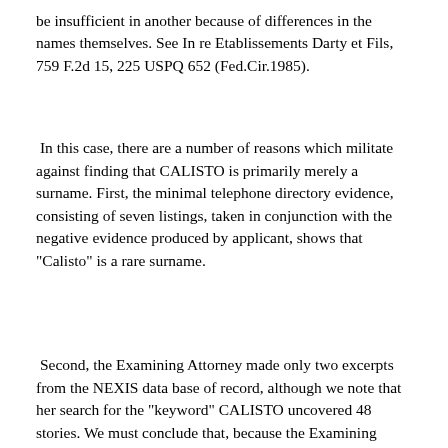be insufficient in another because of differences in the names themselves. See In re Etablissements Darty et Fils, 759 F.2d 15, 225 USPQ 652 (Fed.Cir.1985).
In this case, there are a number of reasons which militate against finding that CALISTO is primarily merely a surname. First, the minimal telephone directory evidence, consisting of seven listings, taken in conjunction with the negative evidence produced by applicant, shows that "Calisto" is a rare surname.
Second, the Examining Attorney made only two excerpts from the NEXIS data base of record, although we note that her search for the "keyword" CALISTO uncovered 48 stories. We must conclude that, because the Examining Attorney is presumed to have made the best case possible, the 46 stories not made of record do not support the position that CALISTO is a surname and, indeed, show that CALISTO has nonsurname meanings. [FN2] In re Federated Department Stores,